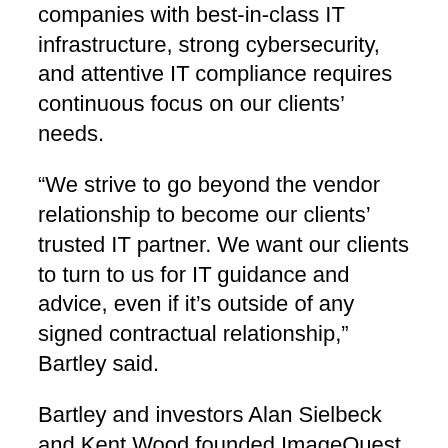companies with best-in-class IT infrastructure, strong cybersecurity, and attentive IT compliance requires continuous focus on our clients' needs.
“We strive to go beyond the vendor relationship to become our clients’ trusted IT partner. We want our clients to turn to us for IT guidance and advice, even if it’s outside of any signed contractual relationship,” Bartley said.
Bartley and investors Alan Sielbeck and Kent Wood founded ImageQuest in 2007 as a copier dealership. By 2010, Bartley saw a greater marketplace need for managed IT, data security, and assistance with data compliance requirements. ImageQuest pivoted to meet those needs, selling off its copier business in 2016 to